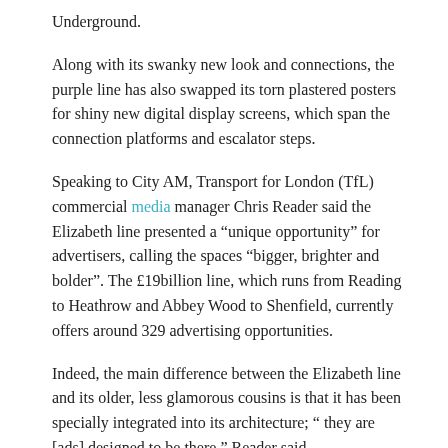Underground.
Along with its swanky new look and connections, the purple line has also swapped its torn plastered posters for shiny new digital display screens, which span the connection platforms and escalator steps.
Speaking to City AM, Transport for London (TfL) commercial media manager Chris Reader said the Elizabeth line presented a “unique opportunity” for advertisers, calling the spaces “bigger, brighter and bolder”. The £19billion line, which runs from Reading to Heathrow and Abbey Wood to Shenfield, currently offers around 329 advertising opportunities.
Indeed, the main difference between the Elizabeth line and its older, less glamorous cousins is that it has been specially integrated into its architecture; “ they are [ads] designed to be there,” Reader said.
With Google and Schweppes as some of the early adopters, TfL’s main advertising partner Global estimates there will be 3.44 million trips a week once the line is fully integrated in the fall, with around 170 million passengers per year by 2026 for London’s youngest